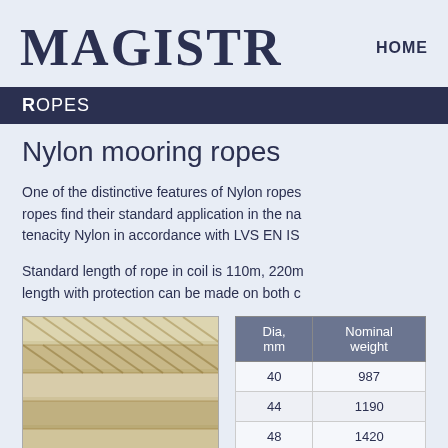MAGISTR
HOME
Ropes
Nylon mooring ropes
One of the distinctive features of Nylon ropes find their standard application in the na tenacity Nylon in accordance with LVS EN IS
Standard length of rope in coil is 110m, 220m length with protection can be made on both c
[Figure (photo): Close-up photo of braided nylon mooring rope showing white/cream colored strands in a woven pattern]
| Dia, mm | Nominal weight |
| --- | --- |
| 40 | 987 |
| 44 | 1190 |
| 48 | 1420 |
| 52 | 1670 |